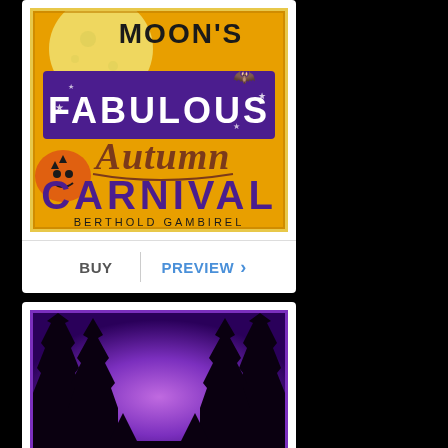[Figure (illustration): Book cover for 'Moon's Fabulous Autumn Carnival' by Berthold Gambirel. Orange/yellow background with purple banner reading FABULOUS, cursive brown text reading Autumn, large purple carnival-style text reading CARNIVAL, jack-o-lantern pumpkins, bats, moon. Author name at bottom.]
BUY
PREVIEW
[Figure (illustration): Second book cover showing a purple gradient background with dark silhouettes of bare trees and pointed rooftops, creating a spooky Halloween night scene.]